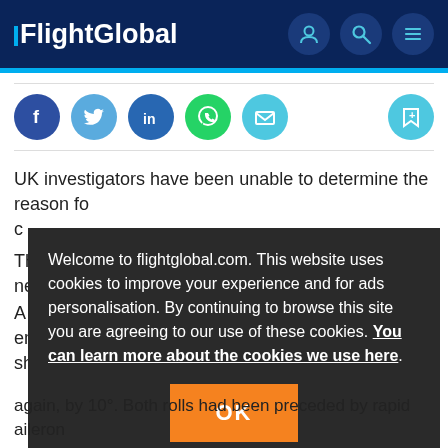FlightGlobal
[Figure (infographic): Social sharing icons: Facebook, Twitter, LinkedIn, WhatsApp, Email. Bookmark/save icon on the right.]
UK investigators have been unable to determine the reason fo c
Welcome to flightglobal.com. This website uses cookies to improve your experience and for ads personalisation. By continuing to browse this site you are agreeing to our use of these cookies. You can learn more about the cookies we use here.
OK
Th ne A em sh again, by 10°. Both rolls had been preceded by rapid aileron
again, by 10°. Both rolls had been preceded by rapid aileron